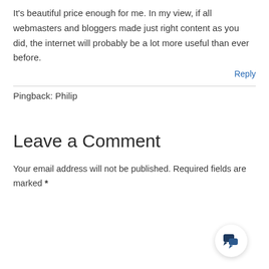It's beautiful price enough for me. In my view, if all webmasters and bloggers made just right content as you did, the internet will probably be a lot more useful than ever before.
Reply
Pingback: Philip
Leave a Comment
Your email address will not be published. Required fields are marked *
[Figure (screenshot): Comment text input box with placeholder text 'Type here..' and a chat bubble icon in the bottom right corner]